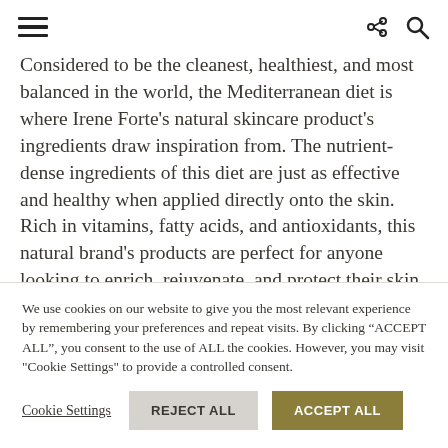[hamburger menu icon] [share icon] [search icon]
Considered to be the cleanest, healthiest, and most balanced in the world, the Mediterranean diet is where Irene Forte’s natural skincare product’s ingredients draw inspiration from. The nutrient-dense ingredients of this diet are just as effective and healthy when applied directly onto the skin. Rich in vitamins, fatty acids, and antioxidants, this natural brand’s products are perfect for anyone looking to enrich, rejuvenate, and protect their skin. Plus, Irene Forte’s naturally…
We use cookies on our website to give you the most relevant experience by remembering your preferences and repeat visits. By clicking “ACCEPT ALL”, you consent to the use of ALL the cookies. However, you may visit "Cookie Settings" to provide a controlled consent.